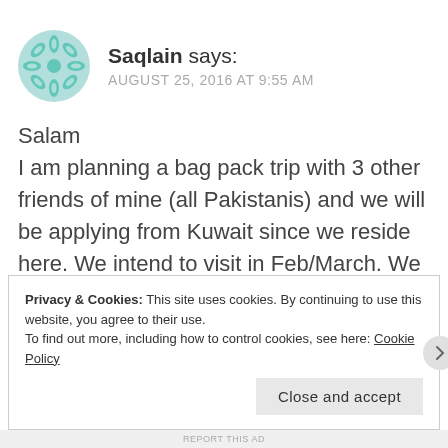[Figure (illustration): Teal/mint colored avatar icon with a snowflake/mandala-like geometric pattern]
Saqlain says:
AUGUST 25, 2016 AT 9:55 AM
Salam
I am planning a bag pack trip with 3 other friends of mine (all Pakistanis) and we will be applying from Kuwait since we reside here. We intend to visit in Feb/March. We plan to start from Italy and after going across 8 to 9 countries end in Spain. Do you think we should mention all of these countries while
Privacy & Cookies: This site uses cookies. By continuing to use this website, you agree to their use.
To find out more, including how to control cookies, see here: Cookie Policy
Close and accept